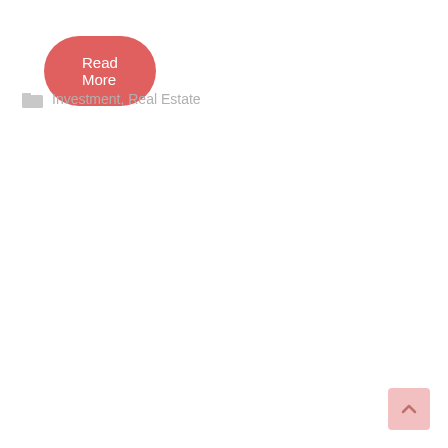[Figure (other): Red/coral rounded pill-shaped 'Read More' button]
Investment, Real Estate
[Figure (other): Light pink scroll-to-top button with upward chevron arrow in the bottom right corner]